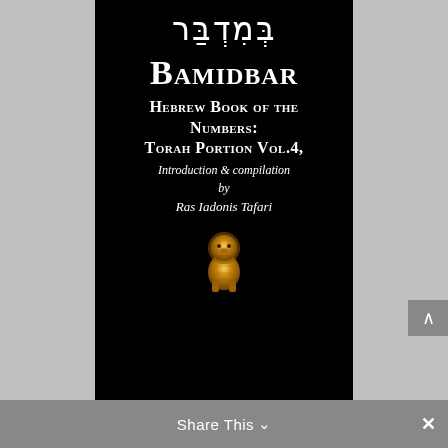[Figure (illustration): Book cover on black background showing Hebrew text, title Bamidbar, subtitle Hebrew Book of the Numbers: Torah Portion Vol.4, Introduction & compilation by Ras Iadonis Tafari, with a golden lion figurine image at bottom.]
Share This ∨